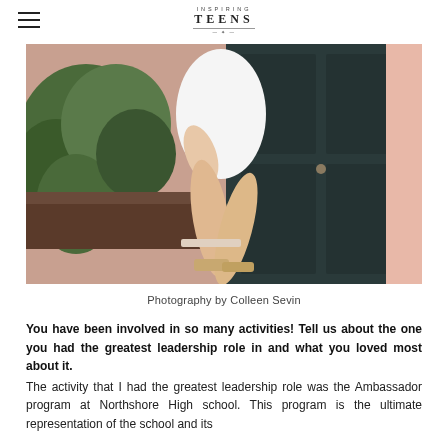Inspiring Teens
[Figure (photo): Young woman in white dress and sandals seated near a dark door with green plants and pink wall in background. Photography by Colleen Sevin.]
Photography by Colleen Sevin
You have been involved in so many activities! Tell us about the one you had the greatest leadership role in and what you loved most about it. The activity that I had the greatest leadership role was the Ambassador program at Northshore High school. This program is the ultimate representation of the school and its